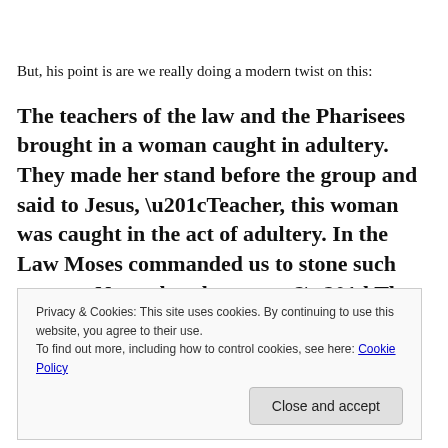But, his point is are we really doing a modern twist on this:
The teachers of the law and the Pharisees brought in a woman caught in adultery. They made her stand before the group and said to Jesus, “Teacher, this woman was caught in the act of adultery. In the Law Moses commanded us to stone such women. Now what do you say?” They were using this question as a trap, in order to have a basis for accusing him. But
Privacy & Cookies: This site uses cookies. By continuing to use this website, you agree to their use.
To find out more, including how to control cookies, see here: Cookie Policy
Close and accept
her.  Again he stooped down and wrote on the